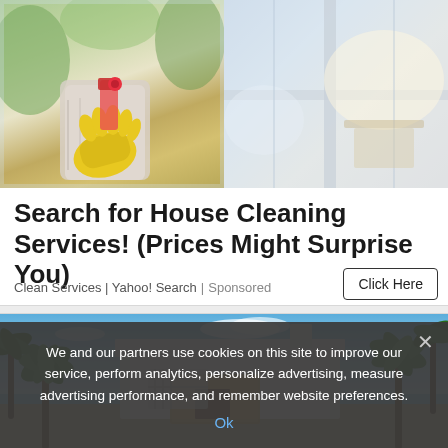[Figure (photo): Two photos side by side: left shows person cleaning a window with yellow rubber gloves and a sponge, right shows a blurred interior with window light]
Search for House Cleaning Services! (Prices Might Surprise You)
Clean Services | Yahoo! Search | Sponsored
Click Here
[Figure (photo): Modern white house with palm trees against a blue sky]
We and our partners use cookies on this site to improve our service, perform analytics, personalize advertising, measure advertising performance, and remember website preferences.
Ok